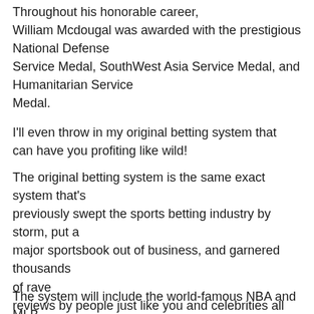Throughout his honorable career, William Mcdougal was awarded with the prestigious National Defense Service Medal, SouthWest Asia Service Medal, and Humanitarian Service Medal.
I'll even throw in my original betting system that can have you profiting like wild!
The original betting system is the same exact system that's previously swept the sports betting industry by storm, put a major sportsbook out of business, and garnered thousands of rave reviews by people just like you and celebrities all over the globe.
The system will include the world-famous NBA and MLB betting